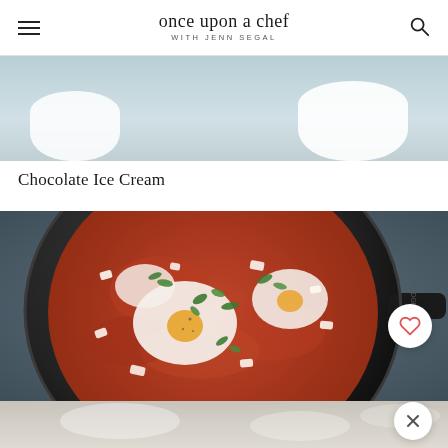once upon a chef WITH JENN SEGAL
[Figure (photo): Top portion of a chocolate ice cream dessert in a bowl, light blue-grey background, partial view showing white bowl]
Chocolate Ice Cream
[Figure (photo): Shakshuka in a cast iron skillet — eggs poached in tomato sauce, topped with crumbled feta cheese and fresh cilantro, viewed from above. A heart/favorite button is visible in the lower right corner.]
[Figure (photo): Bottom partial view of another food item, light coloured background, partially cut off]